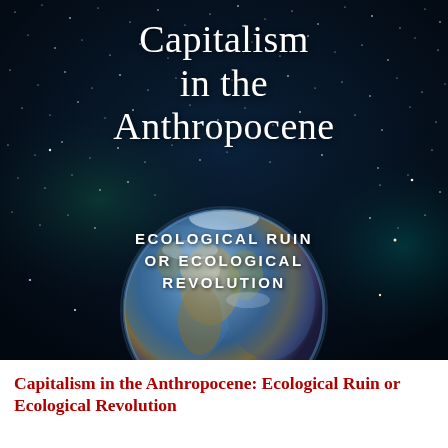[Figure (illustration): Book cover of 'Capitalism in the Anthropocene: Ecological Ruin or Ecological Revolution'. Dark space/galaxy background with stars and nebula, featuring the Earth globe in the lower portion of the image. White serif title text and white all-caps subtitle text overlaid on the space background.]
Capitalism in the Anthropocene: Ecological Ruin or Ecological Revolution